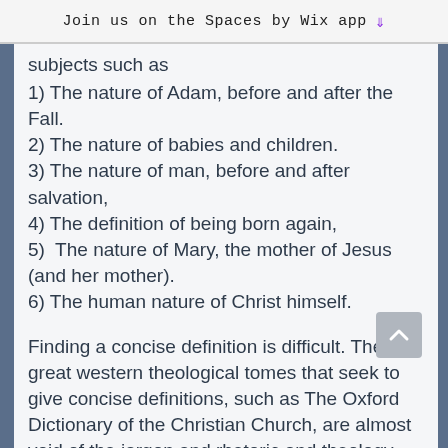Join us on the Spaces by Wix app ↓
subjects such as
1) The nature of Adam, before and after the Fall.
2) The nature of babies and children.
3) The nature of man, before and after salvation,
4) The definition of being born again,
5)  The nature of Mary, the mother of Jesus (and her mother).
6) The human nature of Christ himself.
Finding a concise definition is difficult. The great western theological tomes that seek to give concise definitions, such as The Oxford Dictionary of the Christian Church, are almost void of the jargon and rhetoric and theology terms used by Eastern Orthodoxy.